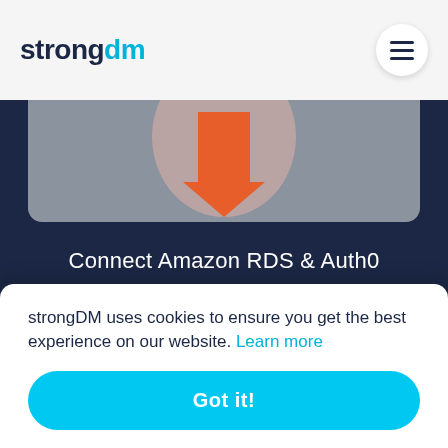strongdm
[Figure (logo): strongDM logo with 'strong' in dark navy and 'dm' in cyan blue, plus hamburger menu button]
[Figure (illustration): Partially visible card with pink/salmon arrow pointing downward icon on gray background]
Connect Amazon RDS & Auth0
[Figure (logo): Keycloak logo: key icon with diamond/chevron shapes in blue on dark hexagon, with KEYCLOAK text below, displayed on gray card background]
strongDM uses cookies to ensure you get the best experience on our website. Learn more
Got it!